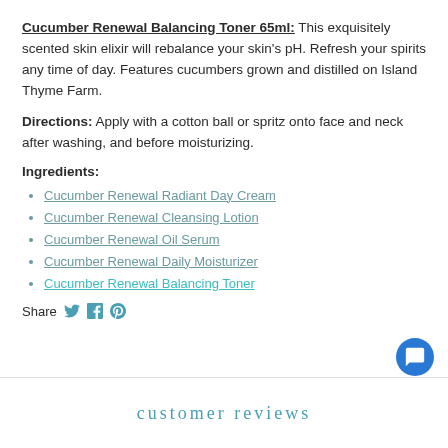Cucumber Renewal Balancing Toner 65ml: This exquisitely scented skin elixir will rebalance your skin's pH. Refresh your spirits any time of day. Features cucumbers grown and distilled on Island Thyme Farm.
Directions: Apply with a cotton ball or spritz onto face and neck after washing, and before moisturizing.
Ingredients:
Cucumber Renewal Radiant Day Cream
Cucumber Renewal Cleansing Lotion
Cucumber Renewal Oil Serum
Cucumber Renewal Daily Moisturizer
Cucumber Renewal Balancing Toner
Share
customer reviews